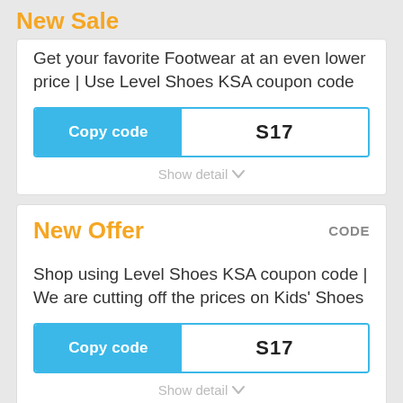New Sale
Get your favorite Footwear at an even lower price | Use Level Shoes KSA coupon code
Copy code   S17
Show detail
New Offer
CODE
Shop using Level Shoes KSA coupon code | We are cutting off the prices on Kids' Shoes
Copy code   S17
Show detail